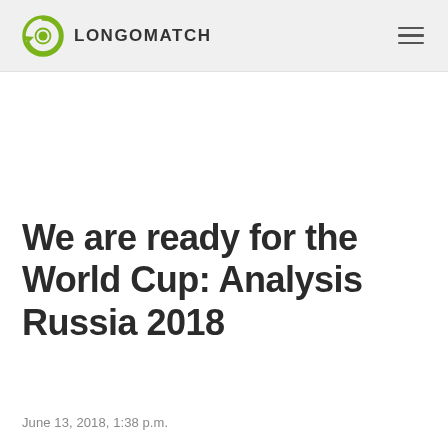LONGOMATCH
We are ready for the World Cup: Analysis Russia 2018
June 13, 2018, 1:38 p.m.